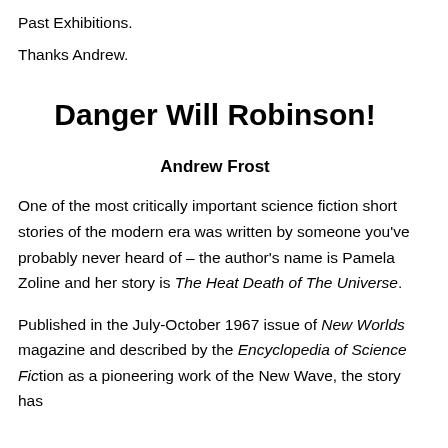Past Exhibitions.
Thanks Andrew.
Danger Will Robinson!
Andrew Frost
One of the most critically important science fiction short stories of the modern era was written by someone you've probably never heard of – the author's name is Pamela Zoline and her story is The Heat Death of The Universe.
Published in the July-October 1967 issue of New Worlds magazine and described by the Encyclopedia of Science Fiction as a pioneering work of the New Wave, the story has...